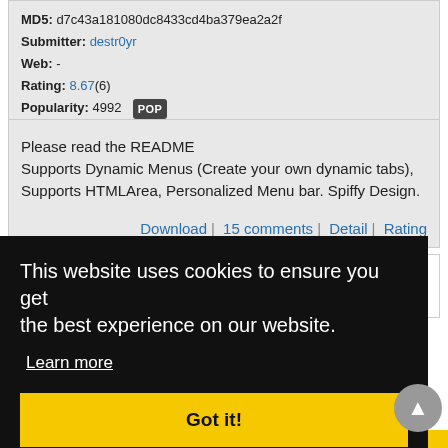MD5: d7c43a181080dc8433cd4ba379ea2a2f
Submitter: destr0yr
Web: -
Rating: 8.67(6)
Popularity: 4992  POP
Please read the README
Supports Dynamic Menus (Create your own dynamic tabs), Supports HTMLArea, Personalized Menu bar. Spiffy Design.
Download | 15 comments | Detail | Rating
[Figure (screenshot): Gray preview thumbnail area]
This website uses cookies to ensure you get the best experience on our website.
Learn more
Got it!